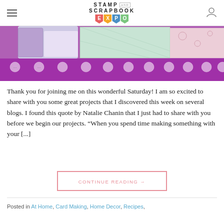STAMP AND SCRAPBOOK EXPO
[Figure (photo): Close-up photo of purple/lavender craft paper rolls with white polka dot ribbon or washi tape, and patterned papers in teal/white and pink patterns]
Thank you for joining me on this wonderful Saturday! I am so excited to share with you some great projects that I discovered this week on several blogs. I found this quote by Natalie Chanin that I just had to share with you before we begin our projects. "When you spend time making something with your [...]
CONTINUE READING →
Posted in At Home, Card Making, Home Decor, Recipes,